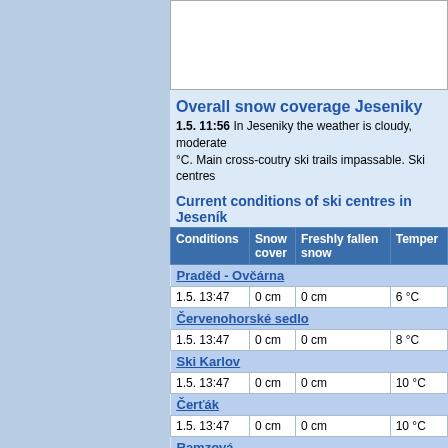[Figure (other): White box / image placeholder in top right area]
Overall snow coverage Jeseniky
1.5. 11:56 In Jeseniky the weather is cloudy, moderate °C. Main cross-coutry ski trails impassable. Ski centres
Current conditions of ski centres in Jesenik
| Conditions | Snow cover | Freshly fallen snow | Temper... |
| --- | --- | --- | --- |
| Praděd - Ovčárna |  |  |  |
| 1.5. 13:47 | 0 cm | 0 cm | 6 °C |
| Červenohorské sedlo |  |  |  |
| 1.5. 13:47 | 0 cm | 0 cm | 8 °C |
| Ski Karlov |  |  |  |
| 1.5. 13:47 | 0 cm | 0 cm | 10 °C |
| Čerťák |  |  |  |
| 1.5. 13:47 | 0 cm | 0 cm | 10 °C |
| Ramzová |  |  |  |
| 27.8. 07:51 | 0 cm | 0 cm | 18 °C |
| Kouty nad Desnou |  |  |  |
| 1.5. 13:47 | 0 cm | 0 cm | 8 °C |
| Petříkov |  |  |  |
| 1.5. 13:47 | 0 cm | 0 cm | 6 °C |
| Branná |  |  |  |